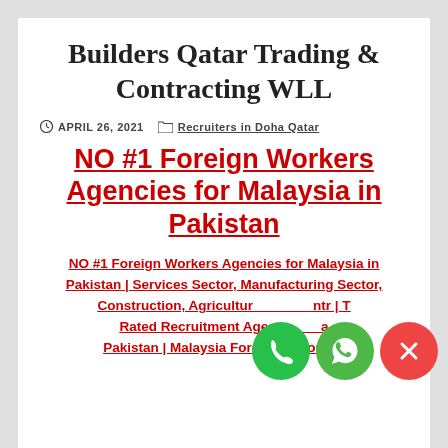Builders Qatar Trading & Contracting WLL
APRIL 26, 2021  Recruiters in Doha Qatar
NO #1 Foreign Workers Agencies for Malaysia in Pakistan
NO #1 Foreign Workers Agencies for Malaysia in Pakistan | Services Sector, Manufacturing Sector, Construction, Agriculture Sector | Top Rated Recruitment Agencies in Pakistan | Malaysia Foreign Labour in Pakistan